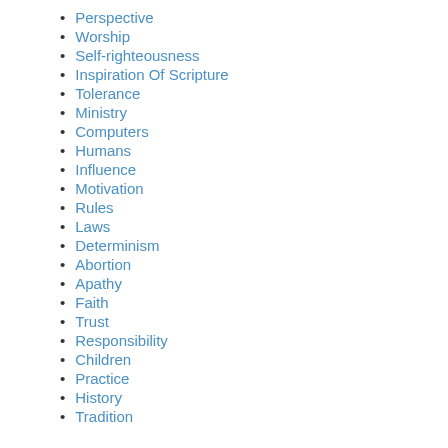Perspective
Worship
Self-righteousness
Inspiration Of Scripture
Tolerance
Ministry
Computers
Humans
Influence
Motivation
Rules
Laws
Determinism
Abortion
Apathy
Faith
Trust
Responsibility
Children
Practice
History
Tradition